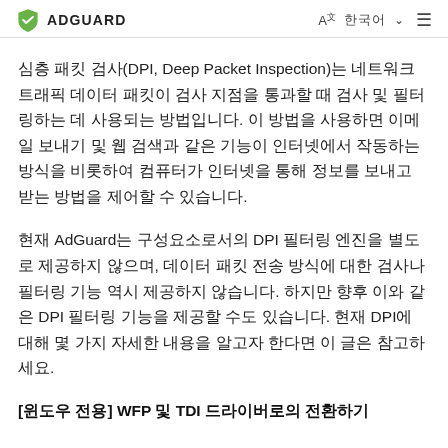ADGUARD
심층 패킷 검사(DPI, Deep Packet Inspection)는 네트워크 트래픽 데이터 패킷이 검사 지점을 통과할 때 검사 및 필터링하는 데 사용되는 방법입니다. 이 방법을 사용하면 이메일 보내기 및 웹 검색과 같은 기능이 인터넷에서 작동하는 방식을 비롯하여 컴퓨터가 인터넷을 통해 정보를 보내고 받는 방법을 제어할 수 있습니다.
현재 AdGuard는 구성요소로서의 DPI 필터링 엔진을 별도로 제공하지 않으며, 데이터 패킷 전송 방식에 대한 검사나 필터링 기능 역시 제공하지 않습니다. 하지만 향후 이와 같은 DPI 필터링 기능을 제공할 수도 있습니다. 현재 DPI에 대해 몇 가지 자세한 내용을 알고자 한다면 이 글은 참고하세요.
[윈도우 전용] WFP 및 TDI 드라이버로의 전환하기